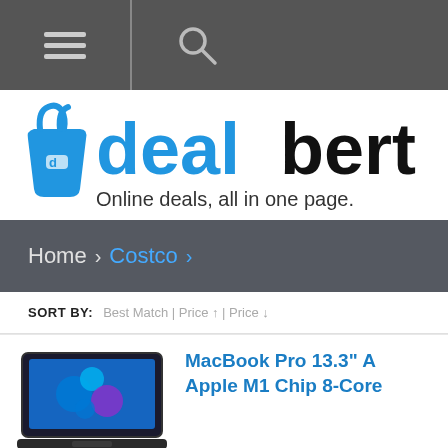Navigation bar with hamburger menu and search icon
[Figure (logo): dealbert logo with shopping bag icon and tagline 'Online deals, all in one page.']
Home > Costco >
SORT BY: Best Match | Price ↑ | Price ↓
[Figure (photo): Laptop computer product image showing Windows 11 screen]
MacBook Pro 13.3" A Apple M1 Chip 8-Core